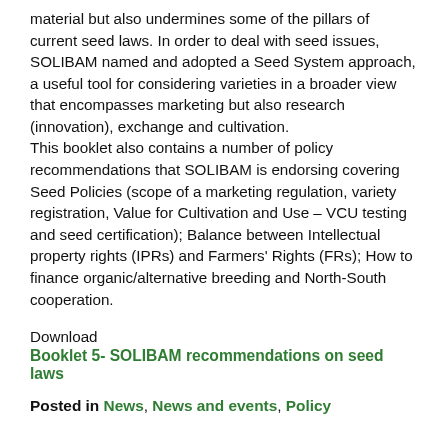material but also undermines some of the pillars of current seed laws. In order to deal with seed issues, SOLIBAM named and adopted a Seed System approach, a useful tool for considering varieties in a broader view that encompasses marketing but also research (innovation), exchange and cultivation. This booklet also contains a number of policy recommendations that SOLIBAM is endorsing covering Seed Policies (scope of a marketing regulation, variety registration, Value for Cultivation and Use – VCU testing and seed certification); Balance between Intellectual property rights (IPRs) and Farmers' Rights (FRs); How to finance organic/alternative breeding and North-South cooperation.
Download
Booklet 5- SOLIBAM recommendations on seed laws
Posted in News, News and events, Policy